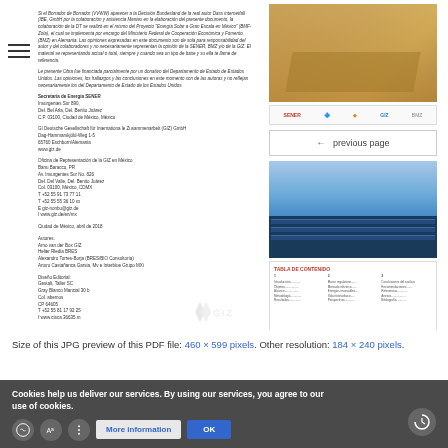Small Spanish/German body text blocks describing document context, collaboration, and Energía Solar project details. Italic disclaimer about funding by U.S. Department of State.
Secretaría de Energía (SENER)
Insurgentes Sur 890,
Del. Benito Juárez,
C.P. 03100, Ciudad de México, México

Deut­sche Gesellschaft für Internatio­na­le Zusammenarbeit (GIZ) GmbH
Dag-Hammarskjöld-Weg 1-5
65760 Eschborn/Alemania
www.giz.de

Oficina de Representación de la GIZ en México
Banu Baracco, PR
Av. Insurgentes Sur No. 826
Del. Del Valle, Del. Benito Juárez
Col. 03100, México, CDMX
T +52 55 91 73 77 11
T +52 55 55 36 10 xx
E giz-nonbu@giz.de
I www.giz.de/en/mx
Ciudad de México, abril de 2018

Autores:
Arne van der Bos GIZ
Helier Riedis BRES
Alexandro Torres-Borja (BRES/BIO Consultoría)
Arturo Castañanca Garsia, Mv e Interblue Group MXi
Diseño Editorial:
Gestalt, Taller SC
Gray Blanco Mancial 30 b
Col. abemos
CP 64605
T +52 55 81 17 92 25
f www.ctsca.36635.m
[Figure (photo): Thumbnail image of solar panels or architectural structure with warm golden/amber tones]
[Figure (logo): Row of logos: SENER, and partner organization logos]
← previous page
[Figure (photo): Aerial photo of offshore solar panel installation on water with blue sky]
[Figure (screenshot): Thumbnail of document table of contents page with red header and columnar list]
next page →
Size of this JPG preview of this PDF file: 460 × 599 pixels. Other resolution: 184 × 240 pixels.
Cookies help us deliver our services. By using our services, you agree to our use of cookies.
More information
OK